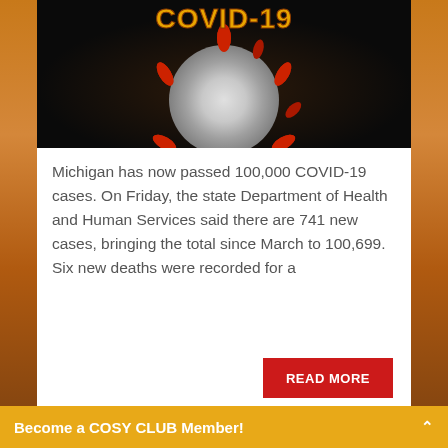[Figure (illustration): COVID-19 coronavirus particle image with red spikes on dark background, with 'COVID-19' text in gold/yellow letters at the top]
Michigan has now passed 100,000 COVID-19 cases. On Friday, the state Department of Health and Human Services said there are 741 new cases, bringing the total since March to 100,699. Six new deaths were recorded for a
READ MORE
Become a COSY CLUB Member!